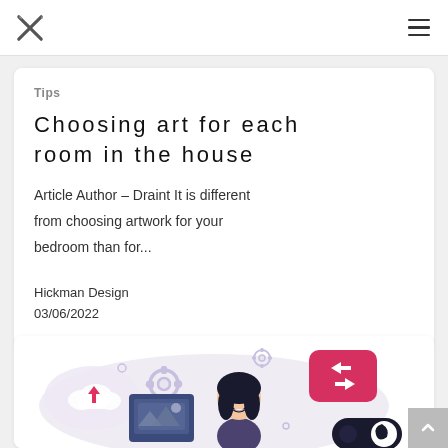Hickman Design - navigation header with logo and hamburger menu
Tips
Choosing art for each room in the house
Article Author – Draint It is different from choosing artwork for your bedroom than for...
Hickman Design
03/06/2022
[Figure (illustration): Flat design illustration of a woman with dark hair smiling, surrounded by UI elements: cloud upload icon with pink arrow, gear icons, a dark monitor/screen with image placeholder, pink notification card with arrows icon, and a dark toggle switch with moon icon. Purple/pink/dark color scheme.]